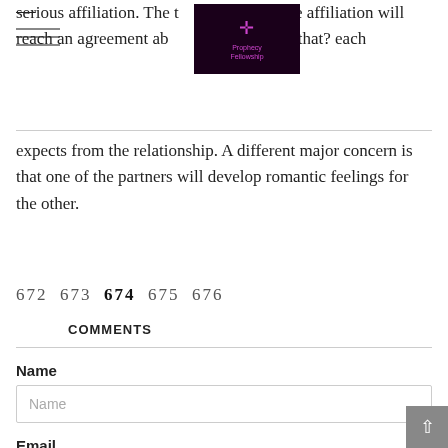serious affiliation. The two people in the affiliation will reach an agreement about can you repeat that? each expects from the relationship. A different major concern is that one of the partners will develop romantic feelings for the other.
[Figure (logo): Prophecy Fellowship logo with cross/sword icon on dark purple background]
672  673  674  675  676
COMMENTS
Name
Email
Comment